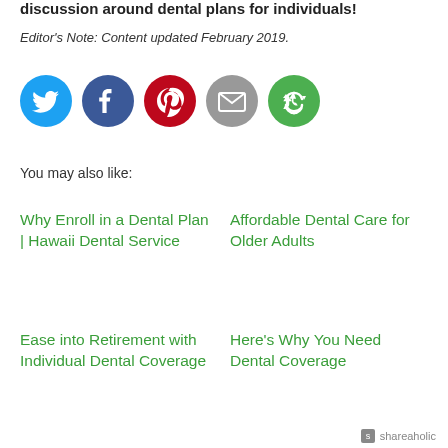discussion around dental plans for individuals!
Editor's Note: Content updated February 2019.
[Figure (other): Social sharing icons: Twitter (blue), Facebook (dark blue), Pinterest (red), Email (gray), Shareaholic (green)]
You may also like:
Why Enroll in a Dental Plan | Hawaii Dental Service
Affordable Dental Care for Older Adults
Ease into Retirement with Individual Dental Coverage
Here's Why You Need Dental Coverage
shareaholic